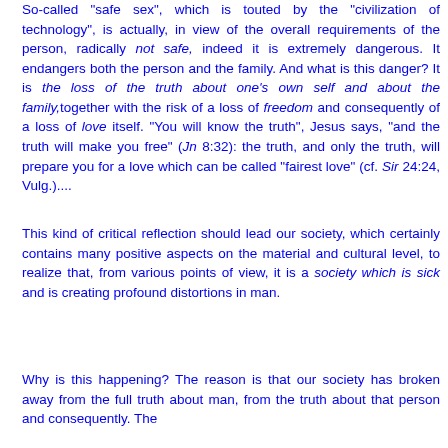So-called "safe sex", which is touted by the "civilization of technology", is actually, in view of the overall requirements of the person, radically not safe, indeed it is extremely dangerous. It endangers both the person and the family. And what is this danger? It is the loss of the truth about one's own self and about the family,together with the risk of a loss of freedom and consequently of a loss of love itself. "You will know the truth", Jesus says, "and the truth will make you free" (Jn 8:32): the truth, and only the truth, will prepare you for a love which can be called "fairest love" (cf. Sir 24:24, Vulg.)....
This kind of critical reflection should lead our society, which certainly contains many positive aspects on the material and cultural level, to realize that, from various points of view, it is a society which is sick and is creating profound distortions in man.
Why is this happening? The reason is that our society has broken away from the full truth about man, from the truth about that person and consequently. The...